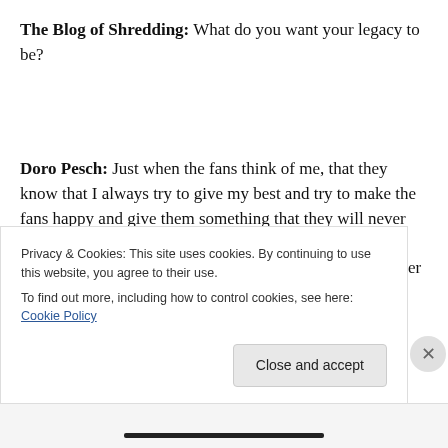The Blog of Shredding: What do you want your legacy to be?
Doro Pesch: Just when the fans think of me, that they know that I always try to give my best and try to make the fans happy and give them something that they will never forget, that it's like the real thing. And something they could always count on. I promise you that I will never ever
Privacy & Cookies: This site uses cookies. By continuing to use this website, you agree to their use.
To find out more, including how to control cookies, see here: Cookie Policy